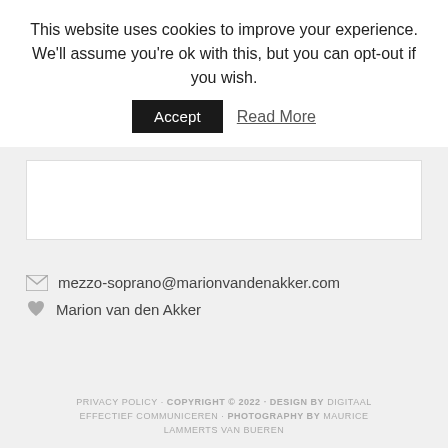This website uses cookies to improve your experience. We'll assume you're ok with this, but you can opt-out if you wish.  Accept  Read More
✉ mezzo-soprano@marionvandenakker.com
♥ Marion van den Akker
PRIVACY POLICY · COPYRIGHT © 2022 · DESIGN BY DIGITAAL EFFECTIEF COMMUNICEREN · PHOTOGRAPHY BY MAURICE LAMMERTS VAN BUEREN